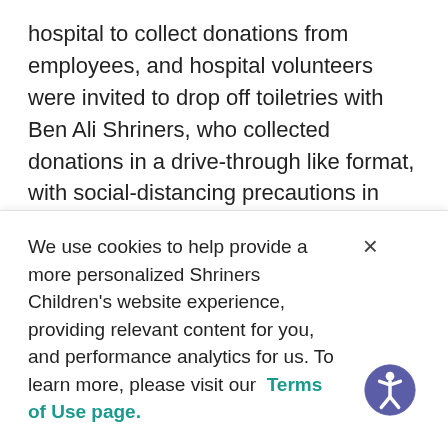hospital to collect donations from employees, and hospital volunteers were invited to drop off toiletries with Ben Ali Shriners, who collected donations in a drive-through like format, with social-distancing precautions in place.

“This was a great way to engage our local Shriners and hospital volunteers. Due to COVID-19 safety
We use cookies to help provide a more personalized Shriners Children's website experience, providing relevant content for you, and performance analytics for us. To learn more, please visit our Terms of Use page.